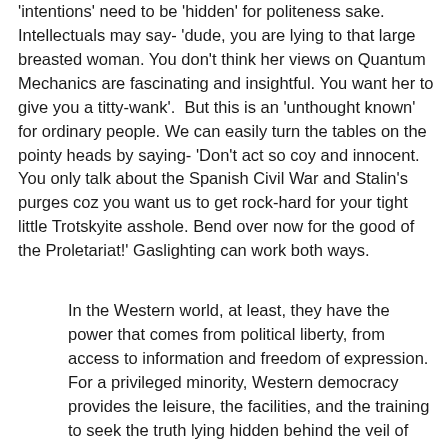'intentions' need to be 'hidden' for politeness sake. Intellectuals may say- 'dude, you are lying to that large breasted woman. You don't think her views on Quantum Mechanics are fascinating and insightful. You want her to give you a titty-wank'.  But this is an 'unthought known' for ordinary people. We can easily turn the tables on the pointy heads by saying- 'Don't act so coy and innocent. You only talk about the Spanish Civil War and Stalin's purges coz you want us to get rock-hard for your tight little Trotskyite asshole. Bend over now for the good of the Proletariat!' Gaslighting can work both ways.
In the Western world, at least, they have the power that comes from political liberty, from access to information and freedom of expression. For a privileged minority, Western democracy provides the leisure, the facilities, and the training to seek the truth lying hidden behind the veil of distortion and misrepresentation, ideology and class interest, through which the events of current history are presented to us.